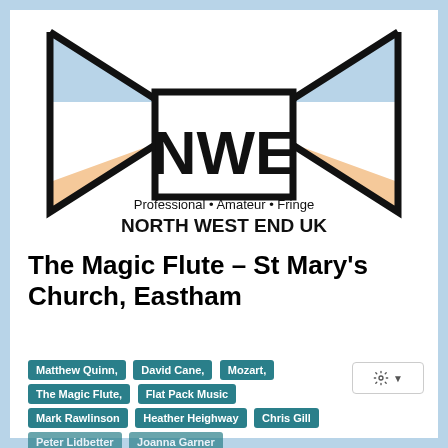[Figure (logo): NWE North West End UK logo with stage spotlight shapes in light blue and peach/orange colors, text: Professional • Amateur • Fringe, NORTH WEST END UK]
The Magic Flute – St Mary's Church, Eastham
Matthew Quinn,
David Cane,
Mozart,
The Magic Flute,
Flat Pack Music
Mark Rawlinson
Heather Heighway
Chris Gill
Peter Lidbetter
Joanna Garner
St Mary's Church, Eastham